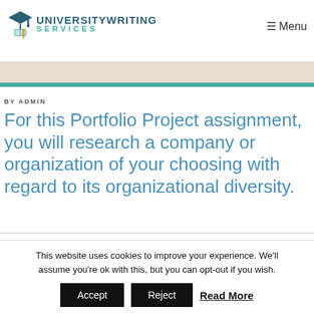UNIVERSITYWRITING SERVICES | Menu
BY ADMIN
For this Portfolio Project assignment, you will research a company or organization of your choosing with regard to its organizational diversity.
This website uses cookies to improve your experience. We'll assume you're ok with this, but you can opt-out if you wish. Accept Reject Read More